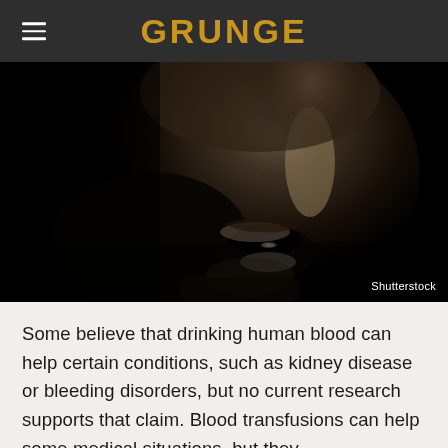GRUNGE
[Figure (photo): Dramatic black and white photograph of a person's face tilted back with mouth open wide, shot in high contrast lighting against a dark background. Shutterstock watermark visible in bottom right.]
Some believe that drinking human blood can help certain conditions, such as kidney disease or bleeding disorders, but no current research supports that claim. Blood transfusions can help some medical situations, but they